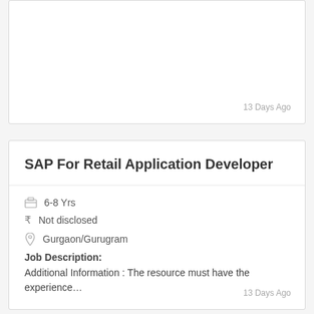13 Days Ago
SAP For Retail Application Developer
6-8 Yrs
Not disclosed
Gurgaon/Gurugram
Job Description:
Additional Information : The resource must have the experience…
13 Days Ago